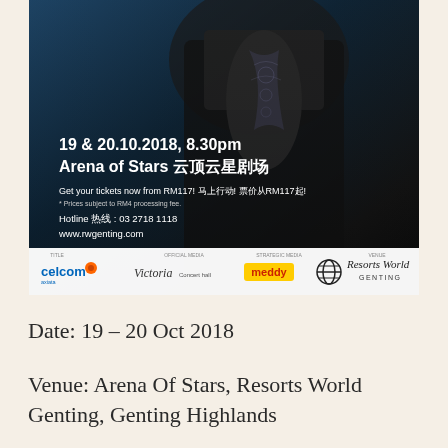[Figure (photo): Concert/event promotional poster. Dark background showing a person in a black suit with ornate tie/scarf. Text overlay shows event details: '19 & 20.10.2018, 8.30pm Arena of Stars 云顶云星剧场'. Ticket pricing from RM117. Hotline 热线: 03 2718 1118. www.rwgenting.com. Sponsor logos at bottom: Celcom Axiata, Victoria, meDDy, Resorts World Genting.]
Date: 19 – 20 Oct 2018
Venue: Arena Of Stars, Resorts World Genting, Genting Highlands